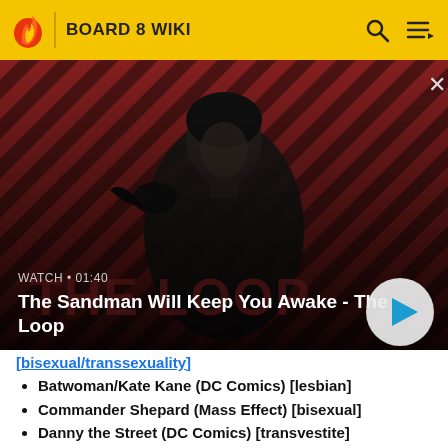BOARD 8 WIKI
[Figure (screenshot): Video thumbnail showing a dark-clothed figure with a raven on their shoulder against a red and black diagonal striped background. Text overlay reads: WATCH • 01:40 / The Sandman Will Keep You Awake - The Loop]
Batwoman/Kate Kane (DC Comics) [lesbian]
Commander Shepard (Mass Effect) [bisexual]
Danny the Street (DC Comics) [transvestite]
JeezyMiyagi: